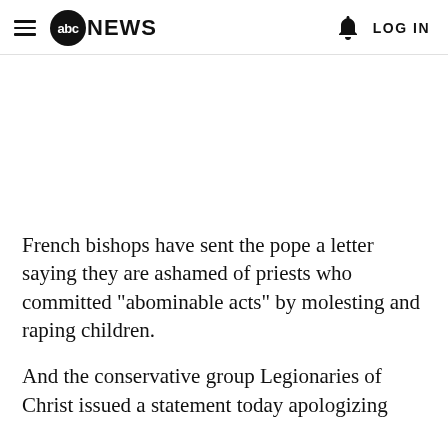abc NEWS  LOG IN
French bishops have sent the pope a letter saying they are ashamed of priests who committed "abominable acts" by molesting and raping children.
And the conservative group Legionaries of Christ issued a statement today apologizing